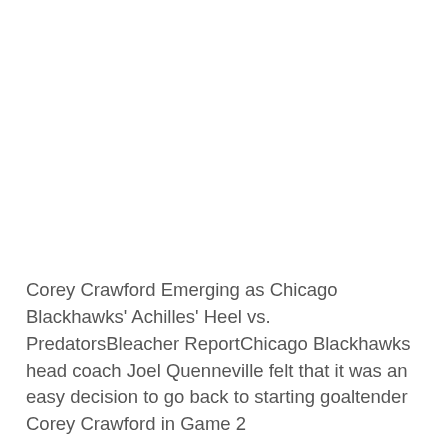Corey Crawford Emerging as Chicago Blackhawks' Achilles' Heel vs. PredatorsBleacher ReportChicago Blackhawks head coach Joel Quenneville felt that it was an easy decision to go back to starting goaltender Corey Crawford in Game 2